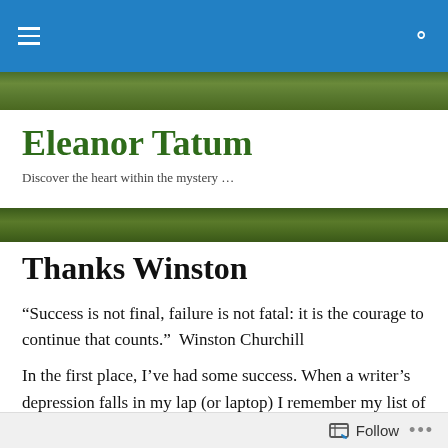Eleanor Tatum – navigation bar with hamburger menu and search icon
[Figure (photo): Forest/trees banner image strip at top]
Eleanor Tatum
Discover the heart within the mystery …
[Figure (photo): Forest/trees banner image strip below site header]
Thanks Winston
“Success is not final, failure is not fatal: it is the courage to continue that counts.”  Winston Churchill
In the first place, I’ve had some success. When a writer’s depression falls in my lap (or laptop) I remember my list of
Follow